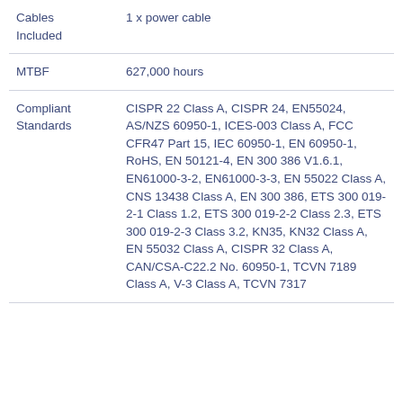| Property | Value |
| --- | --- |
| Cables Included | 1 x power cable |
| MTBF | 627,000 hours |
| Compliant Standards | CISPR 22 Class A, CISPR 24, EN55024, AS/NZS 60950-1, ICES-003 Class A, FCC CFR47 Part 15, IEC 60950-1, EN 60950-1, RoHS, EN 50121-4, EN 300 386 V1.6.1, EN61000-3-2, EN61000-3-3, EN 55022 Class A, CNS 13438 Class A, EN 300 386, ETS 300 019-2-1 Class 1.2, ETS 300 019-2-2 Class 2.3, ETS 300 019-2-3 Class 3.2, KN35, KN32 Class A, EN 55032 Class A, CISPR 32 Class A, CAN/CSA-C22.2 No. 60950-1, TCVN 7189 Class A, V-3 Class A, TCVN 7317 |